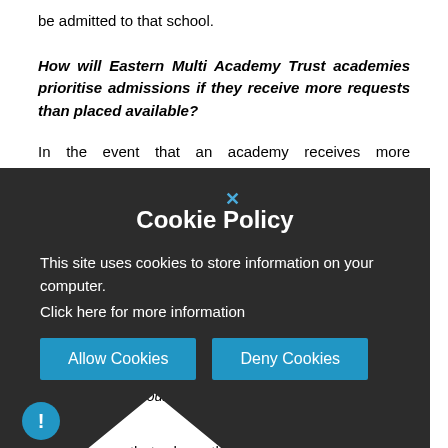be admitted to that school.
How will Eastern Multi Academy Trust academies prioritise admissions if they receive more requests than placed available?
In the event that an academy receives more applications than the number of places it has available, we propose that places will be given to those children who meet any of the criteria set out below, in order until all places are filled. We have clarified that where a parent is applying for a place based on the fact that they are an employee this will apply regardless of the school in which the parent works.
All children with an Education Health and Care (EHC) plans naming one of our academies will be admitted above other places available.
We propose that where this is the case, the highest priority will be given to looked after children
[Figure (screenshot): Cookie Policy popup overlay with dark background, title 'Cookie Policy', body text 'This site uses cookies to store information on your computer. Click here for more information', with 'Allow Cookies' and 'Deny Cookies' blue buttons, and a close X button at the top.]